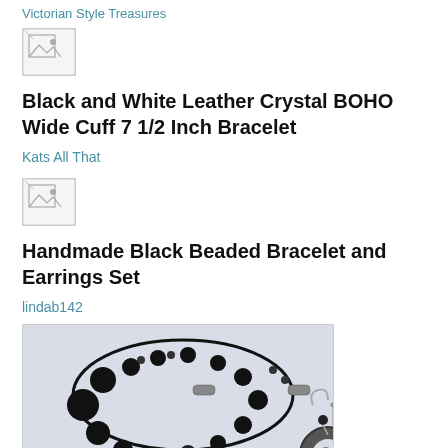Victorian Style Treasures
[Figure (other): Broken/missing image placeholder icon]
Black and White Leather Crystal BOHO Wide Cuff 7 1/2 Inch Bracelet
Kats All That
[Figure (other): Broken/missing image placeholder icon]
Handmade Black Beaded Bracelet and Earrings Set
lindab142
[Figure (photo): Photo of a handmade black beaded bracelet and earrings set with silver accent beads and a circular black donut bead earring pendant, on a light blue background]